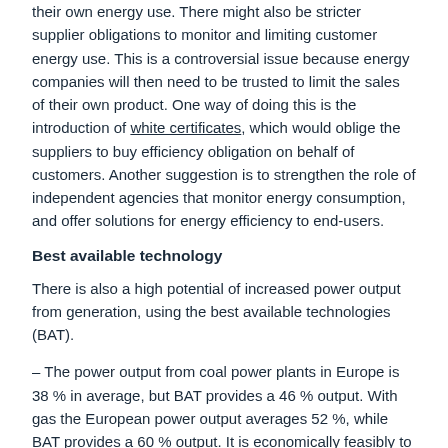their own energy use. There might also be stricter supplier obligations to monitor and limiting customer energy use. This is a controversial issue because energy companies will then need to be trusted to limit the sales of their own product. One way of doing this is the introduction of white certificates, which would oblige the suppliers to buy efficiency obligation on behalf of customers. Another suggestion is to strengthen the role of independent agencies that monitor energy consumption, and offer solutions for energy efficiency to end-users.
Best available technology
There is also a high potential of increased power output from generation, using the best available technologies (BAT).
– The power output from coal power plants in Europe is 38 % in average, but BAT provides a 46 % output. With gas the European power output averages 52 %, while BAT provides a 60 % output. It is economically feasibly to increase the efficiency by 4-5 % in all plants that are 20-30 years old, said Giles Dickson from the French power company Alstom.
Also in hydro power plants the potential is high.